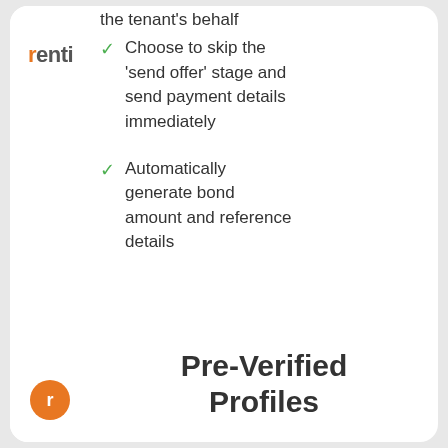[Figure (logo): Renti logo in orange and grey text]
the tenant's behalf
Choose to skip the 'send offer' stage and send payment details immediately
Automatically generate bond amount and reference details
Pre-Verified Profiles
[Figure (illustration): Orange circular avatar with letter r at bottom of sidebar]